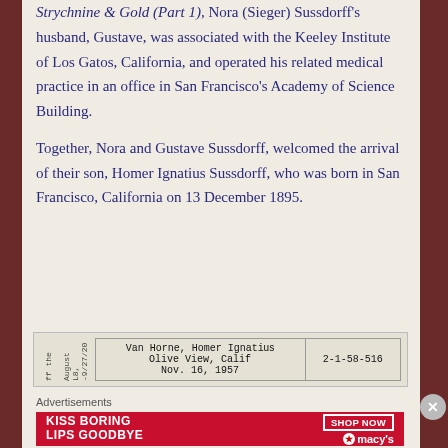Strychnine & Gold (Part 1), Nora (Sieger) Sussdorff's husband, Gustave, was associated with the Keeley Institute of Los Gatos, California, and operated his related medical practice in an office in San Francisco's Academy of Science Building.
Together, Nora and Gustave Sussdorff, welcomed the arrival of their son, Homer Ignatius Sussdorff, who was born in San Francisco, California on 13 December 1895.
[Figure (table-as-image): A historical record entry showing: Van Horne, Homer Ignatius, Olive View, Calif, Nov. 16, 1957, reference number 2-1-58-516]
Advertisements
[Figure (photo): Macy's advertisement banner: 'KISS BORING LIPS GOODBYE' with SHOP NOW button and Macy's star logo]